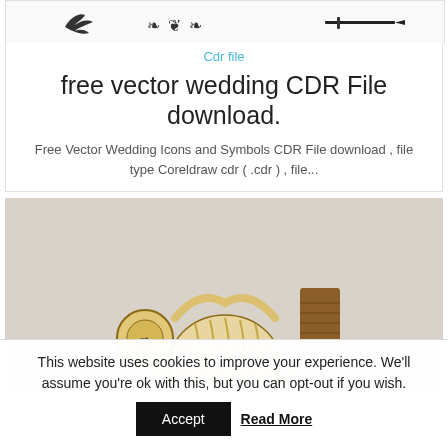[Figure (illustration): Wedding vector decorative icons — silhouettes of a bird, ornamental divider, and a sword/saber on a white background]
Cdr file
free vector wedding CDR File download.
Free Vector Wedding Icons and Symbols CDR File download , file type Coreldraw cdr ( .cdr ) , file...
[Figure (photo): A wooden laser-cut 3D puzzle toy resembling a mechanical creature or vehicle, made of layered pale wood pieces with circular gears and organic curved forms, on a light grey background]
This website uses cookies to improve your experience. We'll assume you're ok with this, but you can opt-out if you wish.